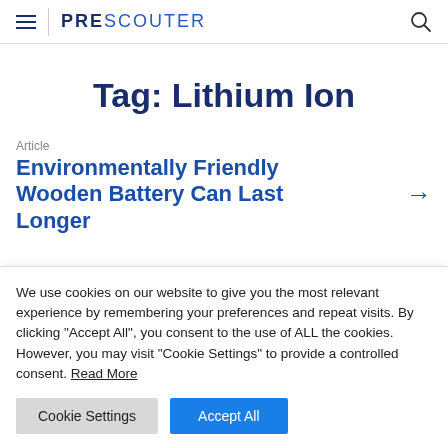PRESCOUTER
Tag: Lithium Ion
Article
Environmentally Friendly Wooden Battery Can Last Longer
We use cookies on our website to give you the most relevant experience by remembering your preferences and repeat visits. By clicking "Accept All", you consent to the use of ALL the cookies. However, you may visit "Cookie Settings" to provide a controlled consent. Read More